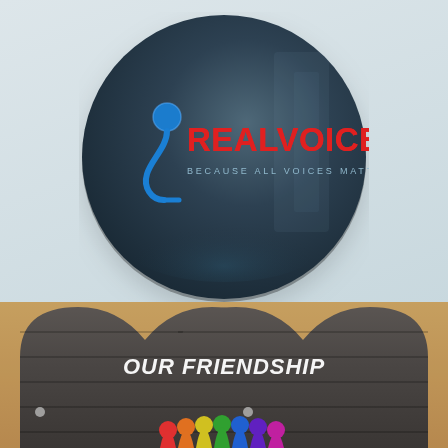[Figure (logo): RealVoices 360° logo on a dark circular background with a blue microphone graphic. Text reads 'REALVOICES 360°' in red and blue, with tagline 'BECAUSE ALL VOICES MATTER' in light blue-gray. The circle is displayed on a light gray-blue wall background.]
[Figure (photo): Bottom section showing a heart-shaped wooden plank sign with 'OUR FRIENDSHIP' written in white chalk-style text, with colorful silhouettes of people underneath. The background is a tan/cork texture.]